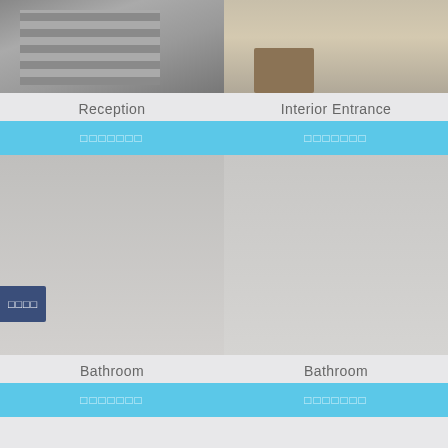[Figure (photo): Exterior photo of a multi-story building in an urban Japanese setting with utility poles and wires]
Reception
[Figure (photo): Interior entrance photo showing wooden furniture and green seating in a modern lobby]
Interior Entrance
□□□□□□□
□□□□□□□
□□□□
[Figure (photo): Bathroom photo (left)]
Bathroom
[Figure (photo): Bathroom photo (right)]
Bathroom
□□□□□□□
□□□□□□□